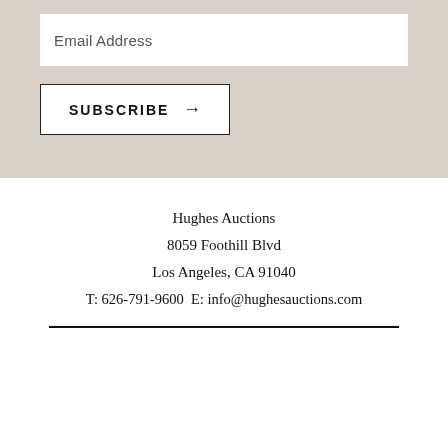Email Address
SUBSCRIBE →
Hughes Auctions
8059 Foothill Blvd
Los Angeles, CA 91040
T: 626-791-9600 E: info@hughesauctions.com
[Figure (other): Social media icons: Facebook, Twitter, Instagram]